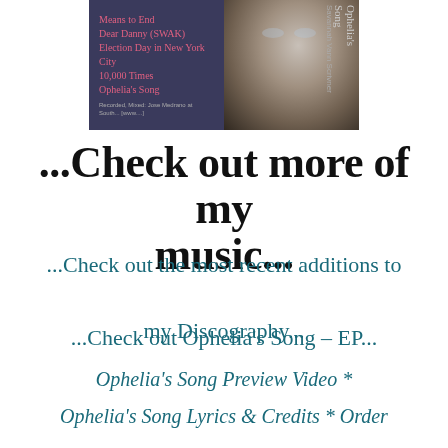[Figure (photo): Album cover image split into two panels: left panel dark purple/blue background with handwritten pink song titles including 'Means to End', 'Dear Danny (SWAK)', 'Election Day in New York City', '10,000 Times', 'Ophelia's Song', and small credit text at bottom; right panel shows a close-up of a young woman's face with dark hair and blue eyes, with 'Ophelia's Song' text vertically on the right edge.]
...Check out more of my music...
...Check out the most recent additions to my Discography...
...Check out Ophelia's Song – EP...
Ophelia's Song Preview Video *
Ophelia's Song Lyrics & Credits * Order